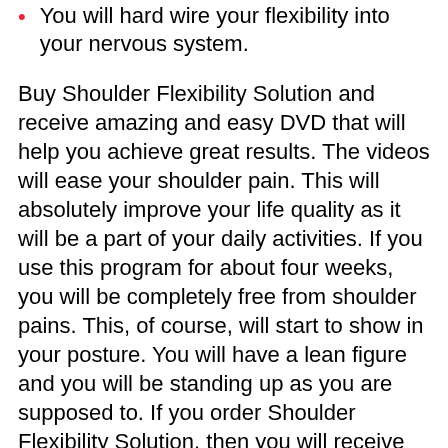You will hard wire your flexibility into your nervous system.
Buy Shoulder Flexibility Solution and receive amazing and easy DVD that will help you achieve great results. The videos will ease your shoulder pain. This will absolutely improve your life quality as it will be a part of your daily activities. If you use this program for about four weeks, you will be completely free from shoulder pains. This, of course, will start to show in your posture. You will have a lean figure and you will be standing up as you are supposed to. If you order Shoulder Flexibility Solution, then you will receive six different routines that will heal your body from these awful aches once and for good.
Buy Exercise course Programs To Help Active People Eliminate Pain in London at a discount – at a promotional price of $99. To get a discount – 23%, order now! ✦ Get a discount from HotPolkaDot.com!